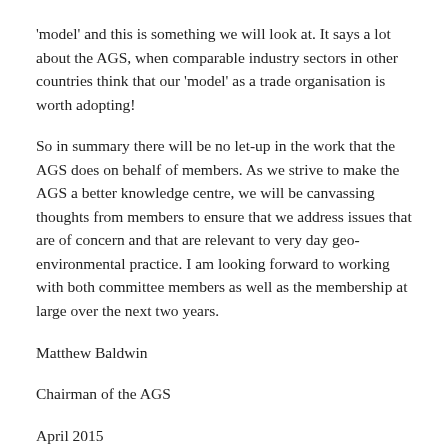'model' and this is something we will look at. It says a lot about the AGS, when comparable industry sectors in other countries think that our 'model' as a trade organisation is worth adopting!
So in summary there will be no let-up in the work that the AGS does on behalf of members. As we strive to make the AGS a better knowledge centre, we will be canvassing thoughts from members to ensure that we address issues that are of concern and that are relevant to very day geo-environmental practice. I am looking forward to working with both committee members as well as the membership at large over the next two years.
Matthew Baldwin
Chairman of the AGS
April 2015